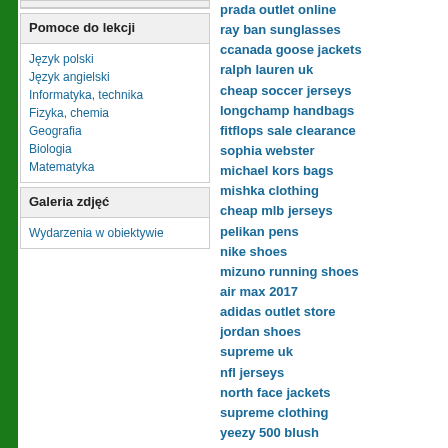Pomoce do lekcji
Język polski
Język angielski
Informatyka, technika
Fizyka, chemia
Geografia
Biologia
Matematyka
Galeria zdjęć
Wydarzenia w obiektywie
prada outlet online
ray ban sunglasses
ccanada goose jackets
ralph lauren uk
cheap soccer jerseys
longchamp handbags
fitflops sale clearance
sophia webster
michael kors bags
mishka clothing
cheap mlb jerseys
pelikan pens
nike shoes
mizuno running shoes
air max 2017
adidas outlet store
jordan shoes
supreme uk
nfl jerseys
north face jackets
supreme clothing
yeezy 500 blush
coach outlet store
ugg for men
air jordan
flip-flops
soccer shirts
lebron ambassador 10
converse shoes
stuart weitzman shoes
swarovski crystal
coach factory online
nicholas kirkwood
manolo blahnik shoes
ugg sale
ugg outlet store
ugg australia
links of london